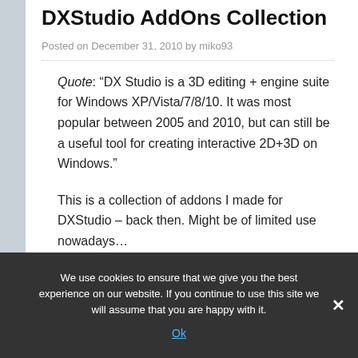DXStudio AddOns Collection
Posted on December 31, 2010 by miko93
Quote: “DX Studio is a 3D editing + engine suite for Windows XP/Vista/7/8/10. It was most popular between 2005 and 2010, but can still be a useful tool for creating interactive 2D+3D on Windows.”
This is a collection of addons I made for DXStudio – back then. Might be of limited use nowadays…
We use cookies to ensure that we give you the best experience on our website. If you continue to use this site we will assume that you are happy with it.
Ok